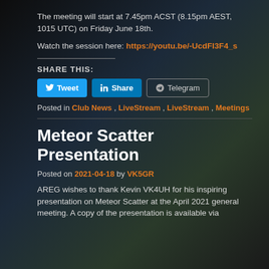The meeting will start at 7.45pm ACST (8.15pm AEST, 1015 UTC) on Friday June 18th.
Watch the session here: https://youtu.be/-UcdFl3F4_s
SHARE THIS:
Posted in Club News, LiveStream, LiveStream, Meetings
Meteor Scatter Presentation
Posted on 2021-04-18 by VK5GR
AREG wishes to thank Kevin VK4UH for his inspiring presentation on Meteor Scatter at the April 2021 general meeting. A copy of the presentation is available via